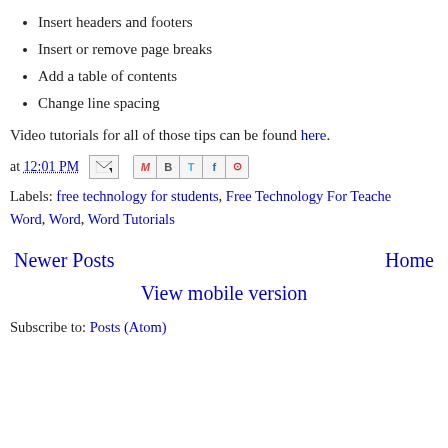Insert headers and footers
Insert or remove page breaks
Add a table of contents
Change line spacing
Video tutorials for all of those tips can be found here.
at 12:01 PM [share icons]
Labels: free technology for students, Free Technology For Teachers, Word, Word, Word Tutorials
Newer Posts   Home
View mobile version
Subscribe to: Posts (Atom)